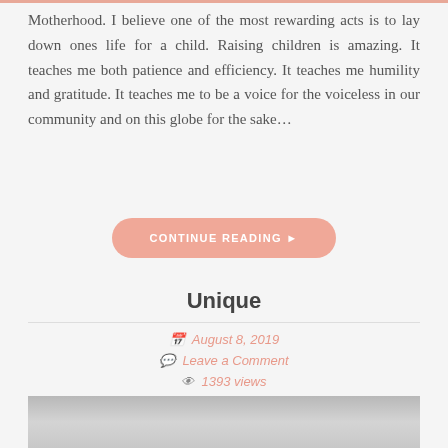Motherhood. I believe one of the most rewarding acts is to lay down ones life for a child. Raising children is amazing. It teaches me both patience and efficiency. It teaches me humility and gratitude. It teaches me to be a voice for the voiceless in our community and on this globe for the sake...
CONTINUE READING ▸
Unique
August 8, 2019
Leave a Comment
1393 views
[Figure (photo): Partial photo of children's shoes visible at the bottom of the page]